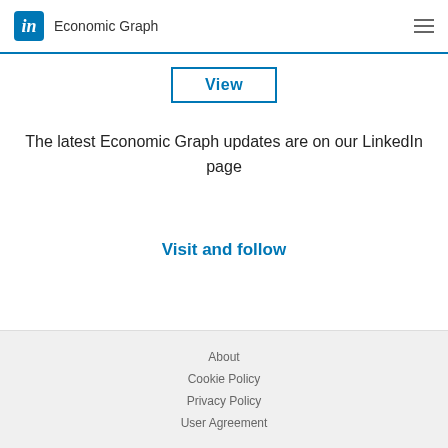in Economic Graph
View
The latest Economic Graph updates are on our LinkedIn page
Visit and follow
About
Cookie Policy
Privacy Policy
User Agreement